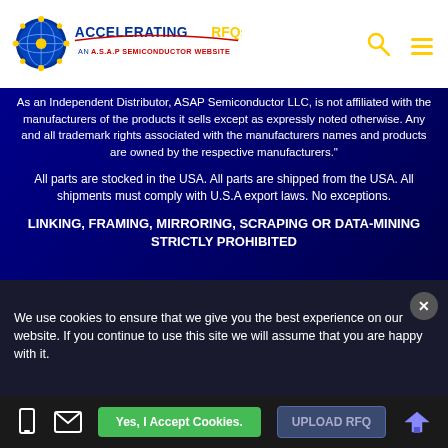Accelerating RFQs — An A.S.A.P Semiconductor Website
As an Independent Distributor, ASAP Semiconductor LLC, is not affiliated with the manufacturers of the products it sells except as expressly noted otherwise. Any and all trademark rights associated with the manufacturers names and products are owned by the respective manufacturers."
All parts are stocked in the USA. All parts are shipped from the USA. All shipments must comply with U.S.A export laws. No exceptions.
LINKING, FRAMING, MIRRORING, SCRAPING OR DATA-MINING STRICTLY PROHIBITED
Copyright © 2022, All rights reserved to Accelerating RFQs.
We use cookies to ensure that we give you the best experience on our website. If you continue to use this site we will assume that you are happy with it.